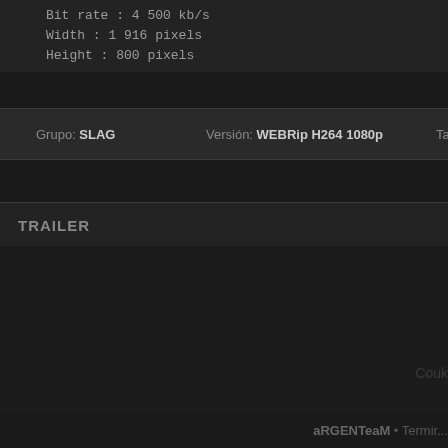Bit rate : 4 500 kb/s
Width : 1 916 pixels
Height : 800 pixels
Grupo: SLAG   Version: WEBRip H264 1080p   Tamir...
TRAILER
Couk
aRGENTeaM • Termir...